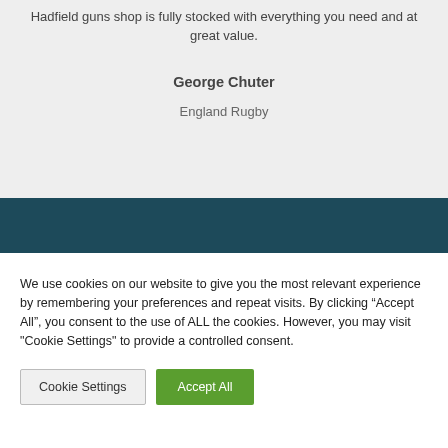Hadfield guns shop is fully stocked with everything you need and at great value.
George Chuter
England Rugby
We use cookies on our website to give you the most relevant experience by remembering your preferences and repeat visits. By clicking “Accept All”, you consent to the use of ALL the cookies. However, you may visit "Cookie Settings" to provide a controlled consent.